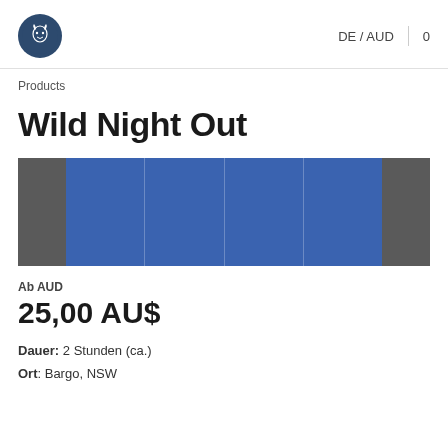DE / AUD  0
Products
Wild Night Out
[Figure (photo): Horizontal image strip showing a product photo with gray panels on left and right sides and a blue panel in the center divided into sections]
Ab AUD
25,00 AU$
Dauer: 2 Stunden (ca.)
Ort: Bargo, NSW